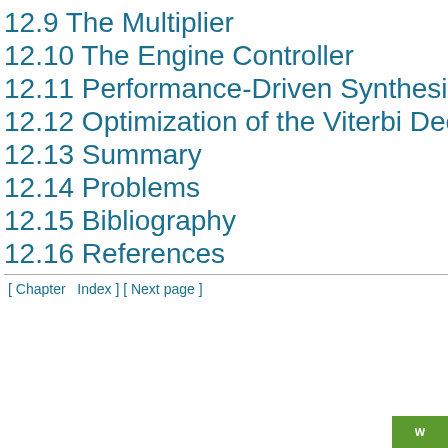12.9 The Multiplier
12.10 The Engine Controller
12.11 Performance-Driven Synthesis
12.12 Optimization of the Viterbi Dec
12.13 Summary
12.14 Problems
12.15 Bibliography
12.16 References
[ Chapter  Index ] [ Next page ]